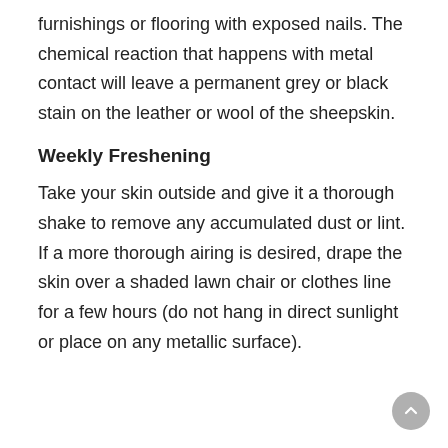furnishings or flooring with exposed nails. The chemical reaction that happens with metal contact will leave a permanent grey or black stain on the leather or wool of the sheepskin.
Weekly Freshening
Take your skin outside and give it a thorough shake to remove any accumulated dust or lint. If a more thorough airing is desired, drape the skin over a shaded lawn chair or clothes line for a few hours (do not hang in direct sunlight or place on any metallic surface).